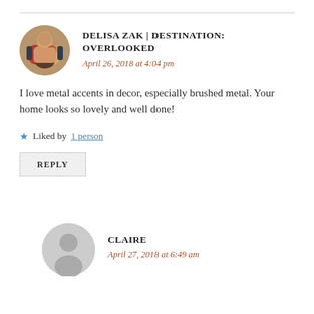DELISA ZAK | DESTINATION: OVERLOOKED
April 26, 2018 at 4:04 pm
I love metal accents in decor, especially brushed metal. Your home looks so lovely and well done!
★ Liked by 1 person
REPLY
CLAIRE
April 27, 2018 at 6:49 am